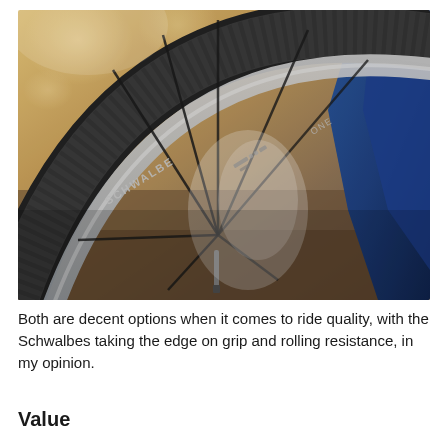[Figure (photo): Close-up photograph of a Schwalbe One road bicycle tire mounted on a blue bicycle wheel with spokes visible, set against a blurred outdoor background with warm bokeh lighting.]
Both are decent options when it comes to ride quality, with the Schwalbes taking the edge on grip and rolling resistance, in my opinion.
Value